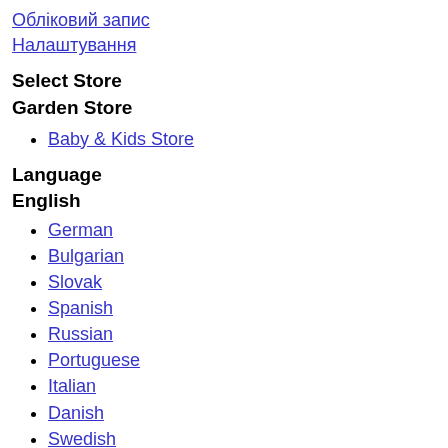Обліковий запис
Налаштування
Select Store
Garden Store
Baby & Kids Store
Language
English
German
Bulgarian
Slovak
Spanish
Russian
Portuguese
Italian
Danish
Swedish
Ukrainian
Croatian
Czech
Dutch
Estonian
Finnish